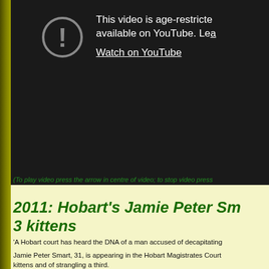[Figure (screenshot): YouTube age-restricted video placeholder with exclamation mark icon in circle, text 'This video is age-restricted and only available on YouTube. Learn more' and 'Watch on YouTube' link]
(To play video press the arrow in centre of video; to stop video press
2011:   Hobart’s Jamie Peter Sm… 3 kittens
‘A Hobart court has heard the DNA of a man accused of decapitating…
Jamie Peter Smart, 31, is appearing in the Hobart Magistrates Court… kittens and of strangling a third.
Prosecutor Mel Jerrim told the court Smart and two other men had g…